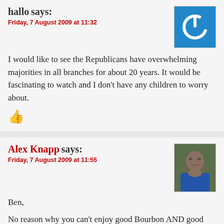hallo says:
Friday, 7 August 2009 at 11:32
I would like to see the Republicans have overwhelming majorities in all branches for about 20 years. It would be fascinating to watch and I don't have any children to worry about.
[Figure (logo): Blue square with white power button icon]
Alex Knapp says:
Friday, 7 August 2009 at 11:55
Ben,
No reason why you can't enjoy good Bourbon AND good Scotch. They each are enjoyable. Have you tried Buffalo Trace? That's my current favorite Bourbon.
[Figure (photo): Photo of Alex Knapp, a man with glasses and beard wearing blue shirt]